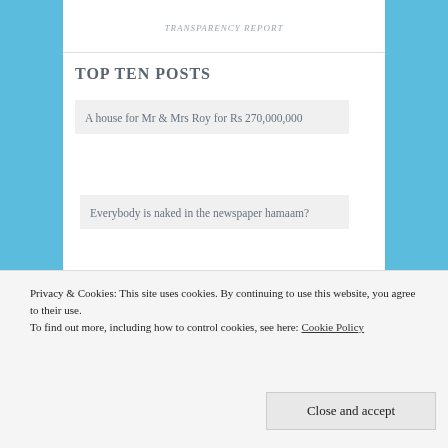TRANSPARENCY REPORT
TOP TEN POSTS
A house for Mr & Mrs Roy for Rs 270,000,000
Everybody is naked in the newspaper hamaam?
Pinch yourself: BJP's Mysore candidate Pratap Simha---a well-read newspaper columnist---had taken out a pre-
his swindle.
Privacy & Cookies: This site uses cookies. By continuing to use this website, you agree to their use. To find out more, including how to control cookies, see here: Cookie Policy
Close and accept